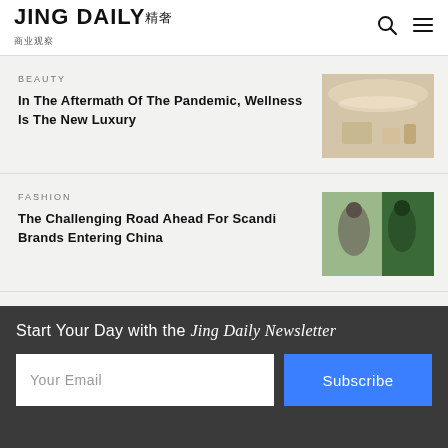JING DAILY 精奢
BEAUTY
In The Aftermath Of The Pandemic, Wellness Is The New Luxury
[Figure (photo): Luxury wellness interior with warm lighting]
FASHION
The Challenging Road Ahead For Scandi Brands Entering China
[Figure (photo): Fashion editorial with models in colorful outfits]
CITY GUIDE
Beaches, Brands, And Billionaires: The Irresistible Rise Of Xiamen
[Figure (photo): Street view of Xiamen shopping district]
Start Your Day with the Jing Daily Newsletter
Your Email
Subscribe